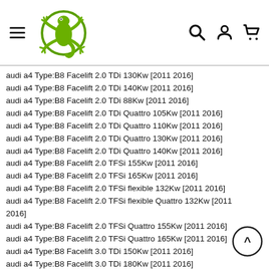[Figure (logo): Green gecko/lizard logo inside a circle, website branding]
audi a4 Type:B8 Facelift 2.0 TDi 130Kw [2011 2016]
audi a4 Type:B8 Facelift 2.0 TDi 140Kw [2011 2016]
audi a4 Type:B8 Facelift 2.0 TDi 88Kw [2011 2016]
audi a4 Type:B8 Facelift 2.0 TDi Quattro 105Kw [2011 2016]
audi a4 Type:B8 Facelift 2.0 TDi Quattro 110Kw [2011 2016]
audi a4 Type:B8 Facelift 2.0 TDi Quattro 130Kw [2011 2016]
audi a4 Type:B8 Facelift 2.0 TDi Quattro 140Kw [2011 2016]
audi a4 Type:B8 Facelift 2.0 TFSi 155Kw [2011 2016]
audi a4 Type:B8 Facelift 2.0 TFSi 165Kw [2011 2016]
audi a4 Type:B8 Facelift 2.0 TFSi flexible 132Kw [2011 2016]
audi a4 Type:B8 Facelift 2.0 TFSi flexible Quattro 132Kw [2011 2016]
audi a4 Type:B8 Facelift 2.0 TFSi Quattro 155Kw [2011 2016]
audi a4 Type:B8 Facelift 2.0 TFSi Quattro 165Kw [2011 2016]
audi a4 Type:B8 Facelift 3.0 TDi 150Kw [2011 2016]
audi a4 Type:B8 Facelift 3.0 TDi 180Kw [2011 2016]
audi a4 Type:B8 Facelift 3.0 TDi Quattro 180Kw [2011 2016]
audi a4 Type:B8 Facelift 3.0 TFSi 200Kw [2011 2016]
audi a4 Type:B8 Facelift 3.0 TFSi Quattro 200Kw [2011 2016]
audi a4 Type:B9 1.4 TFSi 110Kw [2015 2020]
audi a4 Type:B9 2.0 TDi 110Kw [2015 2020]